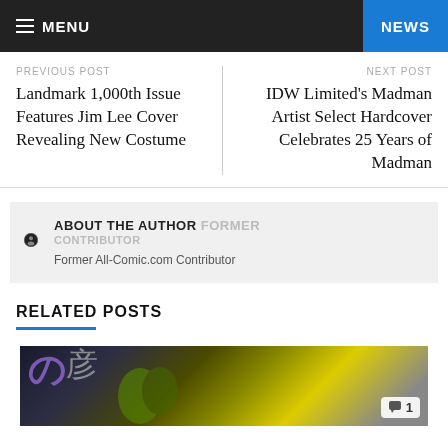MENU | NEWS
PREVIOUS POST
Landmark 1,000th Issue Features Jim Lee Cover Revealing New Costume
NEXT POST
IDW Limited's Madman Artist Select Hardcover Celebrates 25 Years of Madman
ABOUT THE AUTHOR FORMER CONTRIBUTOR
Former All-Comic.com Contributor
RELATED POSTS
[Figure (photo): Thumbnail image for a related post showing Japanese characters and a yellow/green background]